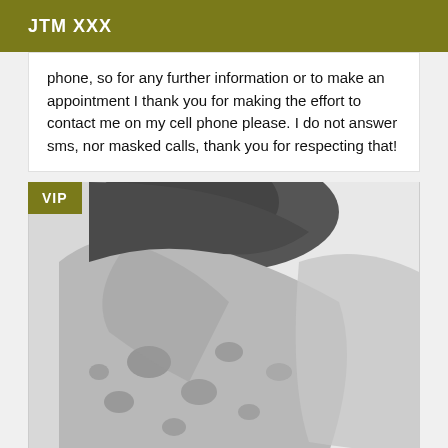JTM XXX
phone, so for any further information or to make an appointment I thank you for making the effort to contact me on my cell phone please. I do not answer sms, nor masked calls, thank you for respecting that!
[Figure (photo): Black and white close-up photograph of a human body part (appears to be a shoulder or torso area) with spotted/mottled skin texture. A VIP badge label is overlaid in the top-left corner.]